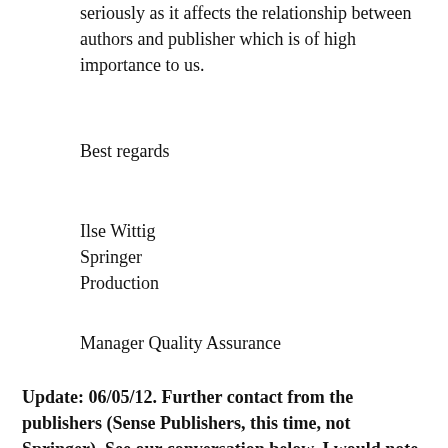seriously as it affects the relationship between authors and publisher which is of high importance to us.
Best regards
Ilse Wittig
Springer
Production
Manager Quality Assurance
Update: 06/05/12. Further contact from the publishers (Sense Publishers, this time, not Springer). See our conversation below. I would note at this stage that they have indeed kept their promises, the catalogue now reflects the true authorship of the